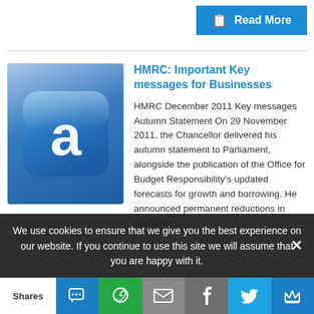Read More
[Figure (logo): Blue rounded square app icon with a white letter 'a' in the center]
HMRC: Important Key messages for Businesses
HMRC December 2011 Key messages Autumn Statement On 29 November 2011, the Chancellor delivered his autumn statement to Parliament, alongside the publication of the Office for Budget Responsibility's updated forecasts for growth and borrowing. He announced permanent reductions in spending to
We use cookies to ensure that we give you the best experience on our website. If you continue to use this site we will assume that you are happy with it.
Shares